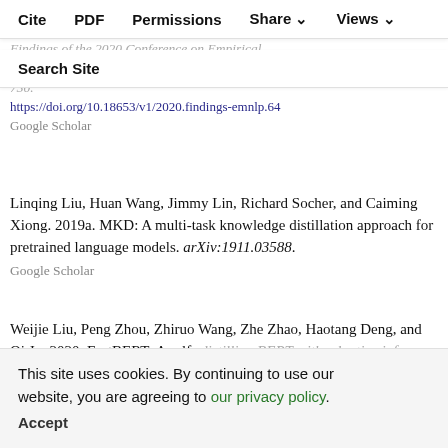Cite | PDF | Permissions | Share | Views
Search Site
2020. Pruning redundant mappings in transformer models via spectral–normalized identity prior. Findings of the 2020 Conference on Empirical Methods in Natural Language Processing, pages 719–730. https://doi.org/10.18653/v1/2020.findings-emnlp.64 Google Scholar
Linqing Liu, Huan Wang, Jimmy Lin, Richard Socher, and Caiming Xiong. 2019a. MKD: A multi-task knowledge distillation approach for pretrained language models. arXiv:1911.03588. Google Scholar
Weijie Liu, Peng Zhou, Zhiruo Wang, Zhe Zhao, Haotang Deng, and Qi Ju. 2020. FastBERT: A self-distilling BERT with adaptive inference time. In Proceedings of the 58th Annual Meeting of the Association for Computational Linguistics, ACL-20, pages 6035–6044.
This site uses cookies. By continuing to use our website, you are agreeing to our privacy policy. Accept